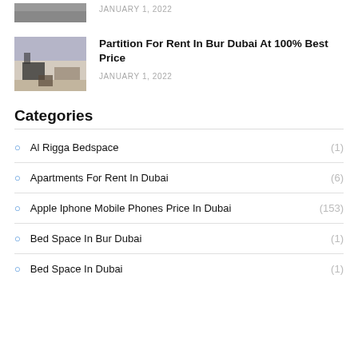[Figure (photo): Partially visible room photo at top]
JANUARY 1, 2022
[Figure (photo): Room interior photo with bed and furniture]
Partition For Rent In Bur Dubai At 100% Best Price
JANUARY 1, 2022
Categories
Al Rigga Bedspace (1)
Apartments For Rent In Dubai (6)
Apple Iphone Mobile Phones Price In Dubai (153)
Bed Space In Bur Dubai (1)
Bed Space In Dubai (1)